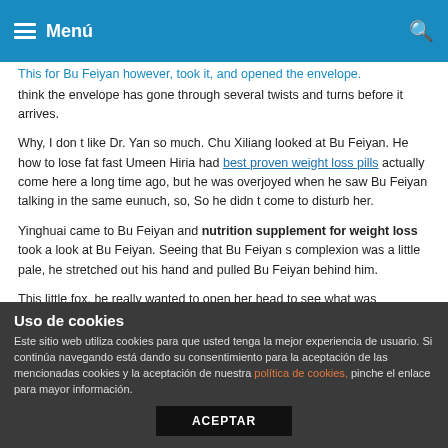Menú
This for Bu Feiyan however, took it, and opened the envelope. think the envelope has gone through several twists and turns before it arrives.
Why, I don t like Dr. Yan so much. Chu Xiliang looked at Bu Feiyan. He how to lose fat fast Umeen Hiria had best proven weight loss pills actually come here a long time ago, but he was overjoyed when he saw Bu Feiyan talking in the same eunuch, so, So he didn t come to disturb her.
Yinghuai came to Bu Feiyan and nutrition supplement for weight loss took a look at Bu Feiyan. Seeing that Bu Feiyan s complexion was a little pale, he stretched out his hand and pulled Bu Feiyan behind him.
This little fox, he really wanted to open her head to see what was
Uso de cookies
Este sitio web utiliza cookies para que usted tenga la mejor experiencia de usuario. Si continúa navegando está dando su consentimiento para la aceptación de las mencionadas cookies y la aceptación de nuestra política de cookies, pinche el enlace para mayor información.
ACEPTAR